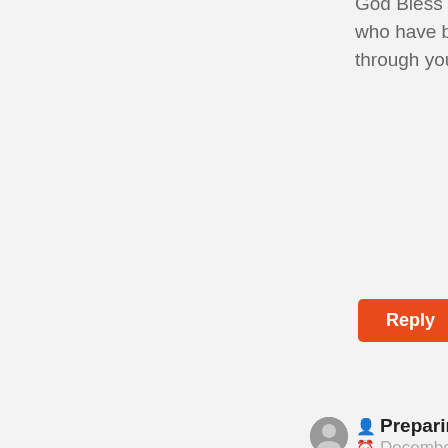God Bless Living Waters, 180 and all those who have been faithful. God is moving through you guys.
Reply
Preparing The Way   December 27, 2011 at 7:09 am   Permalink
Matt, thanks so much brother. We are grateful to have so many wonderful people help us spread the word. Lord bless you as you continue to follow His will